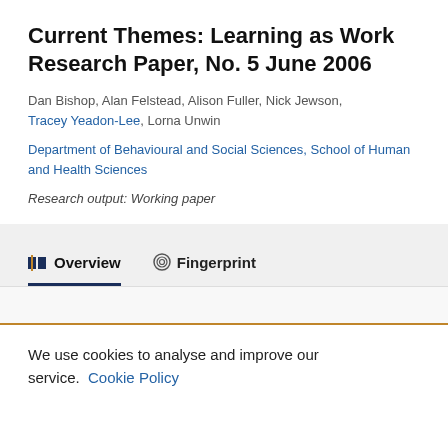Current Themes: Learning as Work Research Paper, No. 5 June 2006
Dan Bishop, Alan Felstead, Alison Fuller, Nick Jewson, Tracey Yeadon-Lee, Lorna Unwin
Department of Behavioural and Social Sciences, School of Human and Health Sciences
Research output: Working paper
Overview
Fingerprint
We use cookies to analyse and improve our service. Cookie Policy